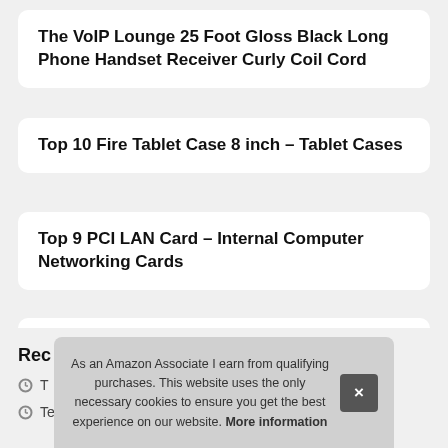The VoIP Lounge 25 Foot Gloss Black Long Phone Handset Receiver Curly Coil Cord
Top 10 Fire Tablet Case 8 inch – Tablet Cases
Top 9 PCI LAN Card – Internal Computer Networking Cards
Rhyme Book: A lined notebook with quotes, playlists, and rap stats
Rec
As an Amazon Associate I earn from qualifying purchases. This website uses the only necessary cookies to ensure you get the best experience on our website. More information